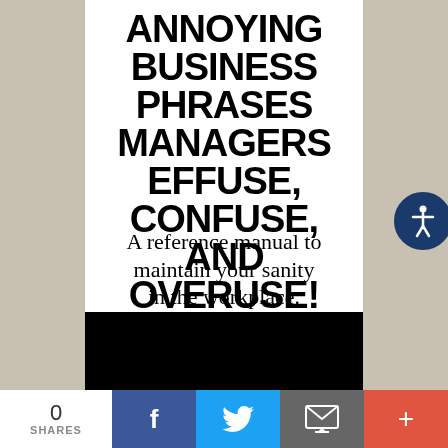ANNOYING BUSINESS PHRASES MANAGERS EFFUSE, CONFUSE, AND OVERUSE!
A reference manual to maintain your sanity in the workplace.
[Figure (other): Black redacted bar at bottom of book cover]
[Figure (other): Social sharing bar with 0 SHARES, Facebook, Twitter, Email, and More (+) buttons]